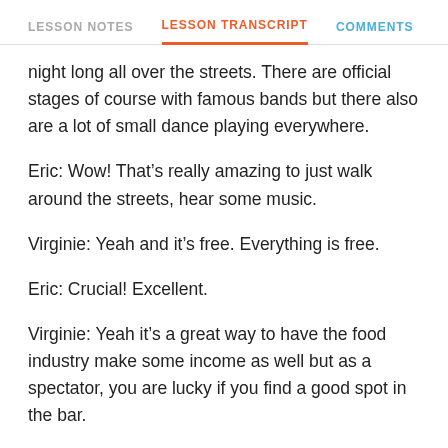LESSON NOTES   LESSON TRANSCRIPT   COMMENTS
night long all over the streets. There are official stages of course with famous bands but there also are a lot of small dance playing everywhere.
Eric: Wow! That’s really amazing to just walk around the streets, hear some music.
Virginie: Yeah and it’s free. Everything is free.
Eric: Crucial! Excellent.
Virginie: Yeah it’s a great way to have the food industry make some income as well but as a spectator, you are lucky if you find a good spot in the bar.
Eric: Have you ever participated as a performer?